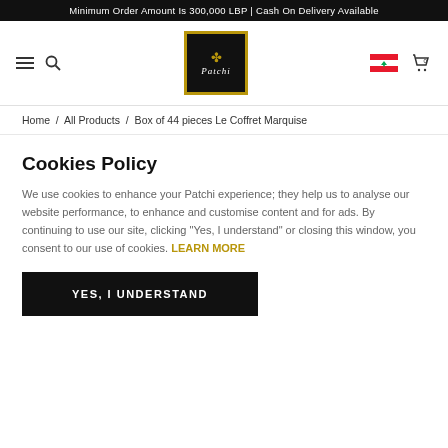Minimum Order Amount Is 300,000 LBP | Cash On Delivery Available
[Figure (logo): Patchi chocolate brand logo — black square with gold border, clover icon and italic Patchi text in white]
Home / All Products / Box of 44 pieces Le Coffret Marquise
Cookies Policy
We use cookies to enhance your Patchi experience; they help us to analyse our website performance, to enhance and customise content and for ads. By continuing to use our site, clicking "Yes, I understand" or closing this window, you consent to our use of cookies. LEARN MORE
YES, I UNDERSTAND